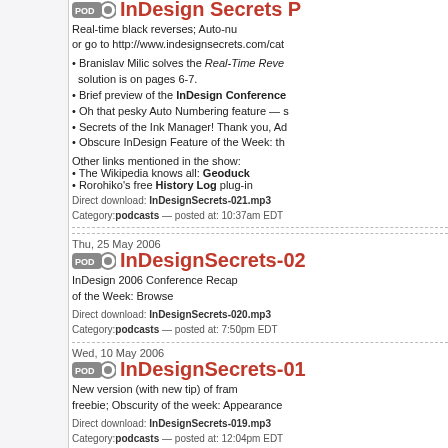Real-time black reverses; Auto-nu or go to http://www.indesignsecrets.com/cat
Branislav Milic solves the Real-Time Reve solution is on pages 6-7.
Brief preview of the InDesign Conference
Oh that pesky Auto Numbering feature — s
Secrets of the Ink Manager! Thank you, Ad
Obscure InDesign Feature of the Week: th
Other links mentioned in the show:
The Wikipedia knows all: Geoduck
Rorohiko's free History Log plug-in
Direct download: InDesignSecrets-021.mp3
Category:podcasts — posted at: 10:37am EDT
Thu, 25 May 2006
InDesignSecrets-02
InDesign 2006 Conference Recap of the Week: Browse
Direct download: InDesignSecrets-020.mp3
Category:podcasts — posted at: 7:50pm EDT
Wed, 10 May 2006
InDesignSecrets-01
New version (with new tip) of fram freebie; Obscurity of the week: Appearance
Direct download: InDesignSecrets-019.mp3
Category:podcasts — posted at: 12:04pm EDT